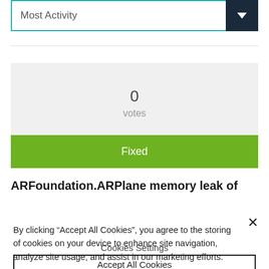Most Activity
0
votes
Fixed
ARFoundation.ARPlane memory leak of
By clicking “Accept All Cookies”, you agree to the storing of cookies on your device to enhance site navigation, analyze site usage, and assist in our marketing efforts.
Cookies Settings
Accept All Cookies